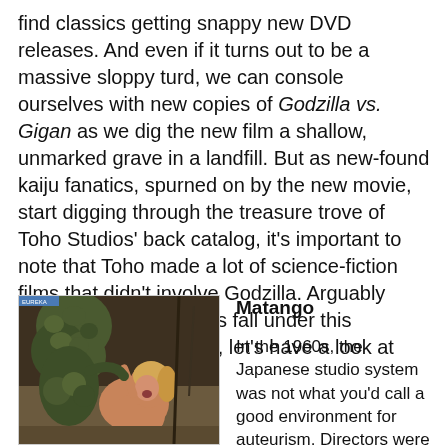find classics getting snappy new DVD releases. And even if it turns out to be a massive sloppy turd, we can console ourselves with new copies of Godzilla vs. Gigan as we dig the new film a shallow, unmarked grave in a landfill. But as new-found kaiju fanatics, spurned on by the new movie, start digging through the treasure trove of Toho Studios’ back catalog, it’s important to note that Toho made a lot of science-fiction films that didn’t involve Godzilla. Arguably some of its best movies fall under this category. So this week, let’s have a look at some of my favorites.
[Figure (photo): Movie poster or cover art for Matango, showing a woman being grabbed by a mushroom-like creature in a jungle setting]
Matango
In the 1960s, the Japanese studio system was not what you’d call a good environment for auteurism. Directors were